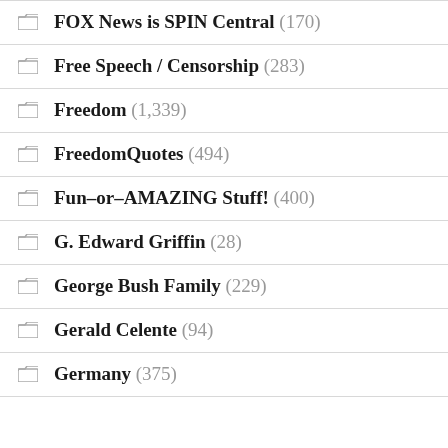FOX News is SPIN Central (170)
Free Speech / Censorship (283)
Freedom (1,339)
FreedomQuotes (494)
Fun–or–AMAZING Stuff! (400)
G. Edward Griffin (28)
George Bush Family (229)
Gerald Celente (94)
Germany (375)